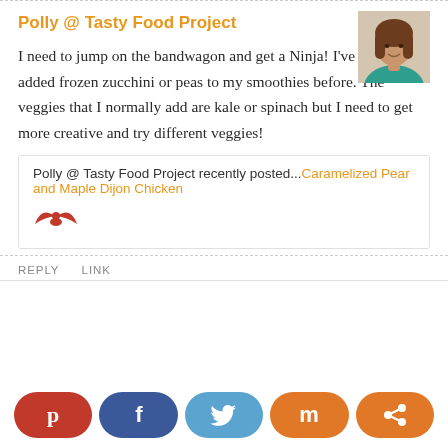Polly @ Tasty Food Project
[Figure (photo): Avatar photo of a woman with brown hair]
I need to jump on the bandwagon and get a Ninja! I've never added frozen zucchini or peas to my smoothies before. The veggies that I normally add are kale or spinach but I need to get more creative and try different veggies!
Polly @ Tasty Food Project recently posted...Caramelized Pear and Maple Dijon Chicken
REPLY   LINK